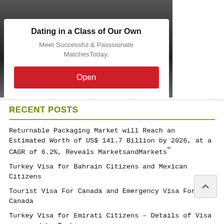[Figure (screenshot): Dating app advertisement showing a white card on dark background with title 'Dating in a Class of Our Own', subtitle 'Meet Successful & Passsionate MatchesToday.', and a red Open button.]
RECENT POSTS
Returnable Packaging Market will Reach an Estimated Worth of US$ 141.7 Billion by 2026, at a CAGR of 6.2%, Reveals MarketsandMarkets™
Turkey Visa for Bahrain Citizens and Mexican Citizens
Tourist Visa For Canada and Emergency Visa For Canada
Turkey Visa for Emirati Citizens – Details of Visa granted by Turkey
New Zealand Visa For Canadian Citizens and New